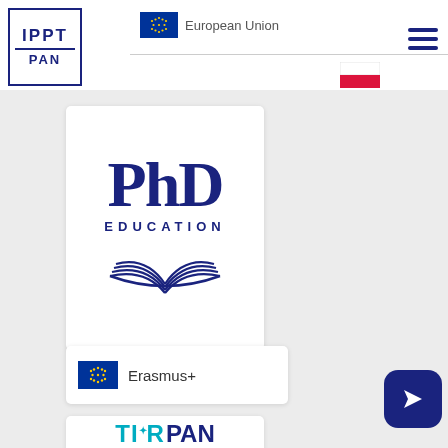[Figure (logo): IPPT PAN institutional logo — blue rectangle border with text IPPT on top and PAN below a horizontal line]
[Figure (logo): European Union flag (circle of stars on blue) with text 'European Union']
[Figure (logo): Polish flag (white and red horizontal bands)]
[Figure (illustration): Hamburger menu icon (three horizontal dark blue lines)]
[Figure (logo): PhD Education logo — large dark blue 'PhD' text with 'EDUCATION' below and open book graphic beneath]
[Figure (logo): Erasmus+ logo — EU flag with 'Erasmus+' text]
[Figure (logo): Navigation arrow button — dark blue rounded square with white arrow cursor icon]
[Figure (logo): TIR PAN logo — partial view showing 'TIR' in teal and 'PAN' in dark blue]